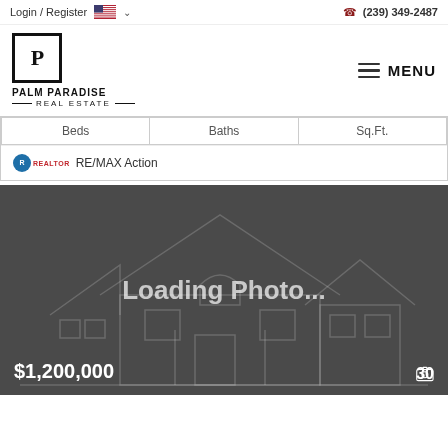Login / Register  (239) 349-2487
[Figure (logo): Palm Paradise Real Estate logo — square with P inside, brand name below]
MENU
| Beds | Baths | Sq.Ft. |
| --- | --- | --- |
RE/MAX Action
[Figure (photo): Loading Photo... placeholder image showing outline of a house on dark grey background. Price $1,200,000 at bottom left, photo count 30 at bottom right.]